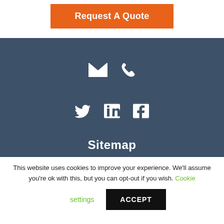[Figure (other): Orange 'Request A Quote' button]
[Figure (other): Dark blue footer section with email and phone icons, social media icons (Twitter, LinkedIn, Facebook), and Sitemap heading]
This website uses cookies to improve your experience. We'll assume you're ok with this, but you can opt-out if you wish. Cookie settings ACCEPT